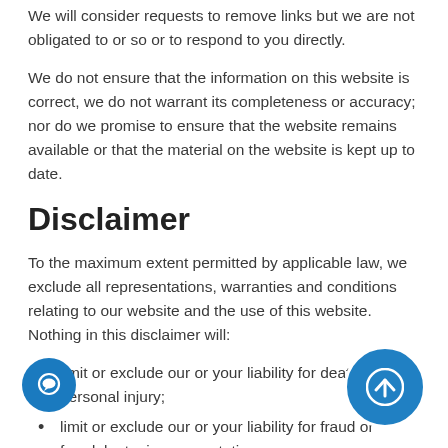We will consider requests to remove links but we are not obligated to or so or to respond to you directly.
We do not ensure that the information on this website is correct, we do not warrant its completeness or accuracy; nor do we promise to ensure that the website remains available or that the material on the website is kept up to date.
Disclaimer
To the maximum extent permitted by applicable law, we exclude all representations, warranties and conditions relating to our website and the use of this website. Nothing in this disclaimer will:
limit or exclude our or your liability for death or personal injury;
limit or exclude our or your liability for fraud or fraudulent misrepresentation;
limit any of our or your liabilities in any way that is not permitted under applicable law; or